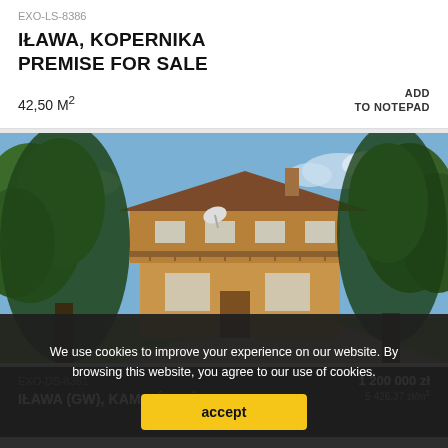EXO-LS-8386
IŁAWA, KOPERNIKA PREMISE FOR SALE
42,50 M²
ADD TO NOTEPAD
[Figure (photo): Two-storey brick house with balcony surrounded by tall green trees, sunny day, paved driveway in front]
1 200 000 zł
5 426,37 zł/m²
EXO-DS-8381
IŁAWA (GW), KAMIEŃ DUŻY
We use cookies to improve your experience on our website. By browsing this website, you agree to our use of cookies.
accept